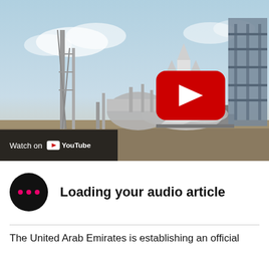[Figure (screenshot): YouTube video thumbnail showing a rocket at a launch pad with smoke/steam, industrial structures in background. A red YouTube play button is centered on the image. Bottom-left has a dark overlay with 'Watch on YouTube' text and logo.]
Loading your audio article
The United Arab Emirates is establishing an official